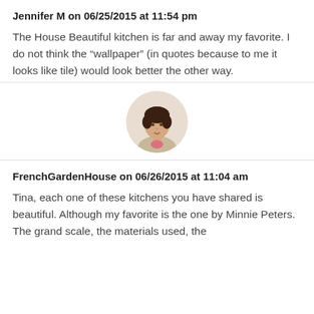Jennifer M on 06/25/2015 at 11:54 pm
The House Beautiful kitchen is far and away my favorite. I do not think the “wallpaper” (in quotes because to me it looks like tile) would look better the other way.
[Figure (photo): Avatar photo of a woman with short dark hair wearing a beige top, holding something pink]
FrenchGardenHouse on 06/26/2015 at 11:04 am
Tina, each one of these kitchens you have shared is beautiful. Although my favorite is the one by Minnie Peters. The grand scale, the materials used, the